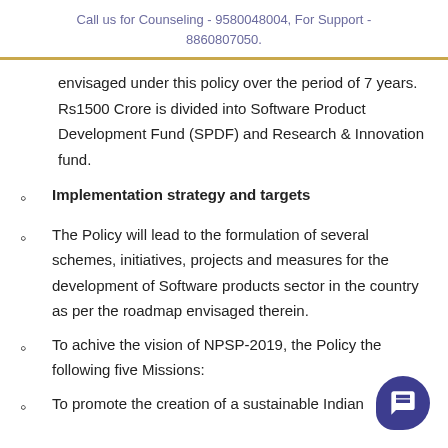Call us for Counseling - 9580048004, For Support - 8860807050.
envisaged under this policy over the period of 7 years. Rs1500 Crore is divided into Software Product Development Fund (SPDF) and Research & Innovation fund.
Implementation strategy and targets
The Policy will lead to the formulation of several schemes, initiatives, projects and measures for the development of Software products sector in the country as per the roadmap envisaged therein.
To achive the vision of NPSP-2019, the Policy the following five Missions:
To promote the creation of a sustainable Indian